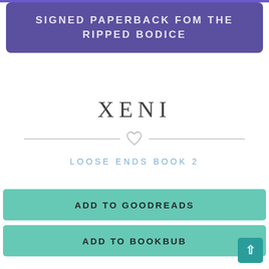SIGNED PAPERBACK FOM THE RIPPED BODICE
XENI
LOOSE ENDS BOOK 2
ADD TO GOODREADS
ADD TO BOOKBUB